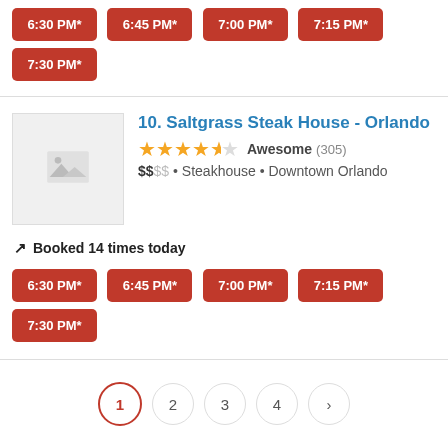6:30 PM*
6:45 PM*
7:00 PM*
7:15 PM*
7:30 PM*
10. Saltgrass Steak House - Orlando
★★★★½ Awesome (305)
$$ • Steakhouse • Downtown Orlando
Booked 14 times today
6:30 PM*
6:45 PM*
7:00 PM*
7:15 PM*
7:30 PM*
1  2  3  4  ›